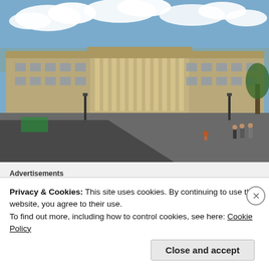[Figure (photo): Photograph of a large neoclassical government building (Colombian Capitol) on a plaza, with people walking in the foreground and blue sky with clouds above.]
Advertisements
[Figure (illustration): Advertisement banner with light blue background showing three circular icons with building/document illustrations and decorative star dots.]
Privacy & Cookies: This site uses cookies. By continuing to use this website, you agree to their use.
To find out more, including how to control cookies, see here: Cookie Policy
Close and accept